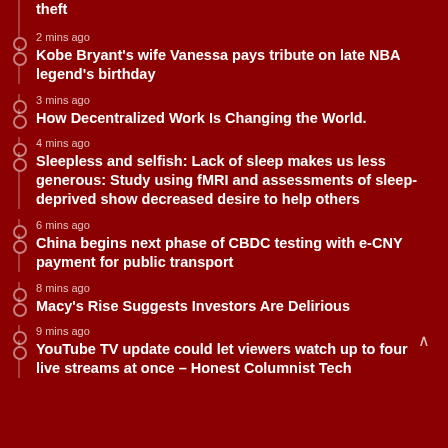theft
2 mins ago
Kobe Bryant's wife Vanessa pays tribute on late NBA legend's birthday
3 mins ago
How Decentralized Work Is Changing the World.
4 mins ago
Sleepless and selfish: Lack of sleep makes us less generous: Study using fMRI and assessments of sleep-deprived show decreased desire to help others
6 mins ago
China begins next phase of CBDC testing with e-CNY payment for public transport
8 mins ago
Macy's Rise Suggests Investors Are Delirious
9 mins ago
YouTube TV update could let viewers watch up to four live streams at once – Honest Columnist Tech